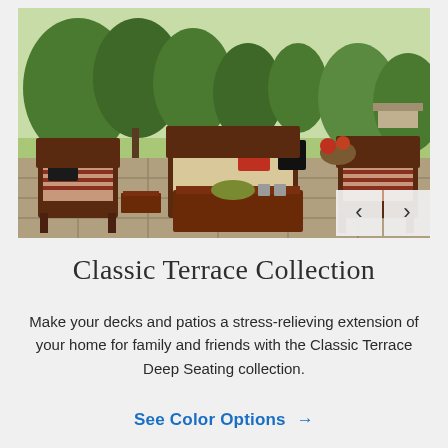[Figure (photo): Outdoor patio furniture set - Classic Terrace Collection showing chairs, loveseat, and coffee table with cushions on a stone patio with trees in background. Navigation arrows visible at bottom right.]
Classic Terrace Collection
Make your decks and patios a stress-relieving extension of your home for family and friends with the Classic Terrace Deep Seating collection.
See Color Options →